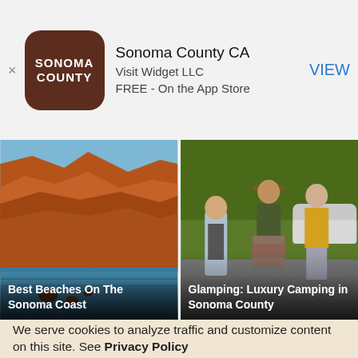[Figure (screenshot): App store ad banner for Sonoma County CA app by Visit Widget LLC. Shows app icon (brown rounded square with SONOMA COUNTY text), app name, developer, price, and VIEW button.]
Sonoma County CA
Visit Widget LLC
FREE - On the App Store
VIEW
[Figure (photo): Aerial photo of Best Beaches On The Sonoma Coast — reddish-brown rocky cliffs meeting blue ocean water]
Best Beaches On The Sonoma Coast
[Figure (photo): Three people walking outdoors near camping area — man in background, woman in hat with flannel tied around waist, older woman in yellow cardigan]
Glamping: Luxury Camping in Sonoma County
We serve cookies to analyze traffic and customize content on this site. See Privacy Policy